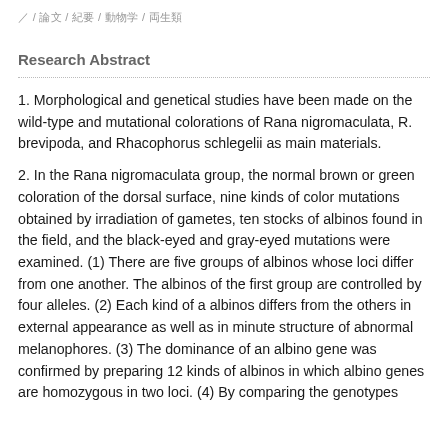/ / 論文 / 紀要 / 動物学 / 両生類
Research Abstract
1. Morphological and genetical studies have been made on the wild-type and mutational colorations of Rana nigromaculata, R. brevipoda, and Rhacophorus schlegelii as main materials.
2. In the Rana nigromaculata group, the normal brown or green coloration of the dorsal surface, nine kinds of color mutations obtained by irradiation of gametes, ten stocks of albinos found in the field, and the black-eyed and gray-eyed mutations were examined. (1) There are five groups of albinos whose loci differ from one another. The albinos of the first group are controlled by four alleles. (2) Each kind of a albinos differs from the others in external appearance as well as in minute structure of abnormal melanophores. (3) The dominance of an albino gene was confirmed by preparing 12 kinds of albinos in which albino genes are homozygous in two loci. (4) By comparing the genotypes